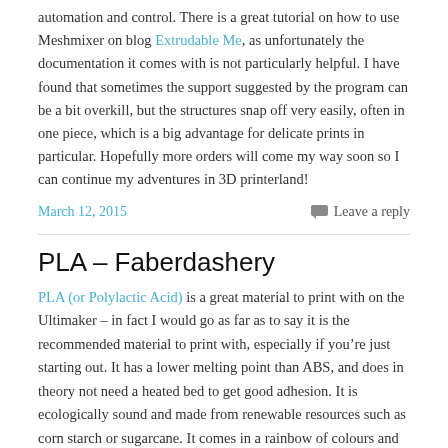automation and control. There is a great tutorial on how to use Meshmixer on blog Extrudable Me, as unfortunately the documentation it comes with is not particularly helpful. I have found that sometimes the support suggested by the program can be a bit overkill, but the structures snap off very easily, often in one piece, which is a big advantage for delicate prints in particular. Hopefully more orders will come my way soon so I can continue my adventures in 3D printerland!
March 12, 2015    Leave a reply
PLA – Faberdashery
PLA (or Polylactic Acid) is a great material to print with on the Ultimaker – in fact I would go as far as to say it is the recommended material to print with, especially if you're just starting out. It has a lower melting point than ABS, and does in theory not need a heated bed to get good adhesion. It is ecologically sound and made from renewable resources such as corn starch or sugarcane. It comes in a rainbow of colours and some very cool speciality filaments (thermochromic, UV active, glow-in-the-dark and fluorescent to name but a few). It also does not smell as strongly as ABS when printing. You can even shred any failed prints